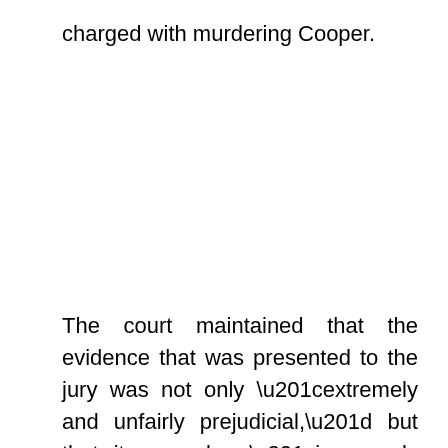charged with murdering Cooper.
The court maintained that the evidence that was presented to the jury was not only “extremely and unfairly prejudicial,” but that it was also “improperly allowed.” In